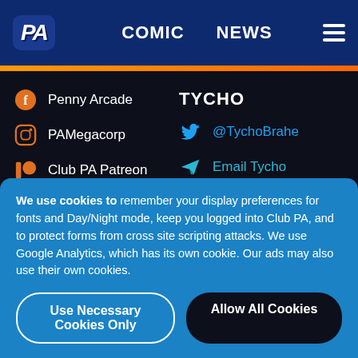PA | COMIC | NEWS
Penny Arcade
PAMegacorp
Club PA Patreon
RSS Feed
Email PA
TYCHO
@TychoBrahe
Email Tycho
We use cookies to remember your display preferences for fonts and Day/Night mode, keep you logged into Club PA, and to protect forms from cross site scripting attacks. We use Google Analytics, which has its own cookie. Our ads may also use their own cookies.
Use Necessary Cookies Only
Allow All Cookies